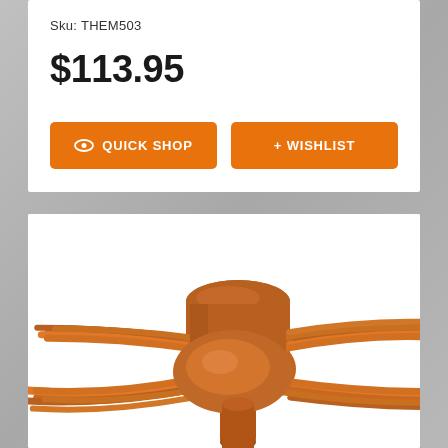Sku: THEM503
$113.95
QUICK SHOP
+ WISHLIST
[Figure (illustration): 3D rendering of a copper electrical wire connector/terminal — a central cylindrical hub with multiple stranded copper wires fanning out in four directions, forming a cross-shaped configuration. The component is shown in orange-brown copper color.]